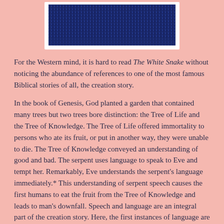[Figure (illustration): A rectangular image with a pink/white border showing a dense cluster of dark blue speckled texture, resembling a mosaic or bead pattern, centered at the top of the page.]
For the Western mind, it is hard to read The White Snake without noticing the abundance of references to one of the most famous Biblical stories of all, the creation story.
In the book of Genesis, God planted a garden that contained many trees but two trees bore distinction: the Tree of Life and the Tree of Knowledge. The Tree of Life offered immortality to persons who ate its fruit, or put in another way, they were unable to die. The Tree of Knowledge conveyed an understanding of good and bad. The serpent uses language to speak to Eve and tempt her. Remarkably, Eve understands the serpent’s language immediately.* This understanding of serpent speech causes the first humans to eat the fruit from the Tree of Knowledge and leads to man’s downfall. Speech and language are an integral part of the creation story. Here, the first instances of language are described: God speaking (“Let there be light”) and man speaking (naming the animals). God’s language brings into being, creating essences and the cosmos. Man’s language names and designates things.